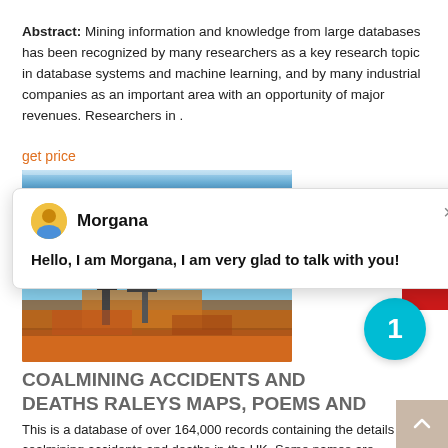Abstract: Mining information and knowledge from large databases has been recognized by many researchers as a key research topic in database systems and machine learning, and by many industrial companies as an important area with an opportunity of major revenues. Researchers in .
get price
[Figure (photo): Partial view of a sky/landscape banner image at top]
[Figure (screenshot): Chat popup with avatar of Morgana saying: Hello, I am Morgana, I am very glad to talk with you!]
[Figure (photo): Aerial photograph of a coal mining operation with heavy machinery on orange/red earth]
COALMINING ACCIDENTS AND DEATHS RALEYS MAPS, POEMS AND
This is a database of over 164,000 records containing the details of coalmining accidents and deaths in the UK. Some names are